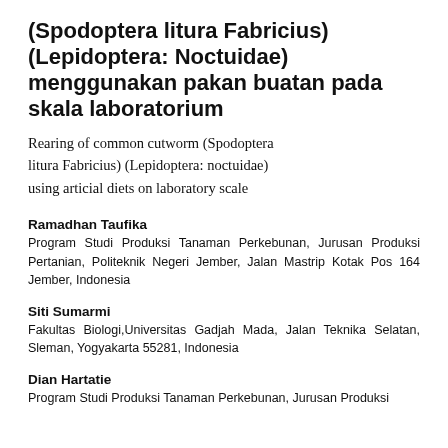(Spodoptera litura Fabricius) (Lepidoptera: Noctuidae) menggunakan pakan buatan pada skala laboratorium
Rearing of common cutworm (Spodoptera litura Fabricius) (Lepidoptera: noctuidae) using articial diets on laboratory scale
Ramadhan Taufika
Program Studi Produksi Tanaman Perkebunan, Jurusan Produksi Pertanian, Politeknik Negeri Jember, Jalan Mastrip Kotak Pos 164 Jember, Indonesia
Siti Sumarmi
Fakultas Biologi,Universitas Gadjah Mada, Jalan Teknika Selatan, Sleman, Yogyakarta 55281, Indonesia
Dian Hartatie
Program Studi Produksi Tanaman Perkebunan, Jurusan Produksi